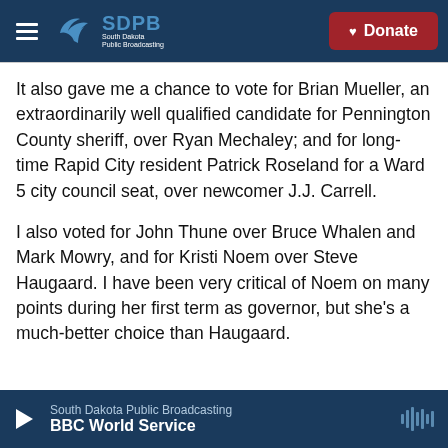SDPB South Dakota Public Broadcasting — Donate
It also gave me a chance to vote for Brian Mueller, an extraordinarily well qualified candidate for Pennington County sheriff, over Ryan Mechaley; and for long-time Rapid City resident Patrick Roseland for a Ward 5 city council seat, over newcomer J.J. Carrell.
I also voted for John Thune over Bruce Whalen and Mark Mowry, and for Kristi Noem over Steve Haugaard. I have been very critical of Noem on many points during her first term as governor, but she's a much-better choice than Haugaard.
South Dakota Public Broadcasting — BBC World Service